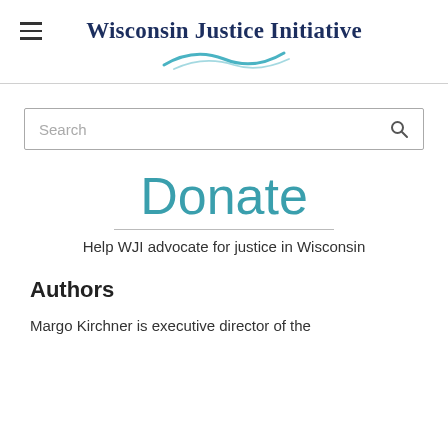Wisconsin Justice Initiative
[Figure (logo): Wisconsin Justice Initiative logo with swoosh graphic element]
Search
Donate
Help WJI advocate for justice in Wisconsin
Authors
Margo Kirchner is executive director of the